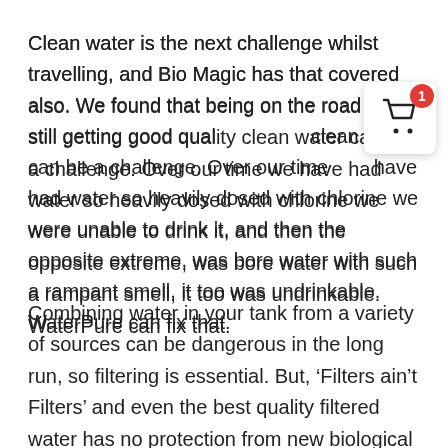Clean water is the next challenge whilst travelling, and Bio Magic has that covered also. We found that being on the road and still getting good quality clean water can be a challenge. Over our time we have had water so heavily dosed with chlorine we were unable to drink it, and then the opposite extreme, was bore water with such a rampant smell, it too was undrinkable. WaterPure can fix that.
[Figure (other): Shopping cart icon widget with red badge showing number 1, displayed as a floating UI element overlapping the text.]
Combining water in your tank from a variety of sources can be dangerous in the long run, so filtering is essential. But, ‘Filters ain’t Filters’ and even the best quality filtered water has no protection from new biological contamination,